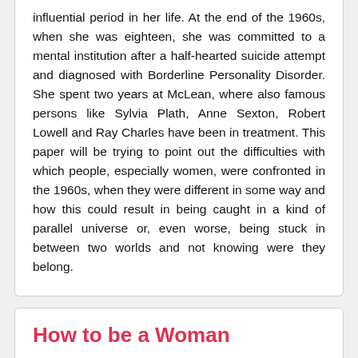influential period in her life. At the end of the 1960s, when she was eighteen, she was committed to a mental institution after a half-hearted suicide attempt and diagnosed with Borderline Personality Disorder. She spent two years at McLean, where also famous persons like Sylvia Plath, Anne Sexton, Robert Lowell and Ray Charles have been in treatment. This paper will be trying to point out the difficulties with which people, especially women, were confronted in the 1960s, when they were different in some way and how this could result in being caught in a kind of parallel universe or, even worse, being stuck in between two worlds and not knowing were they belong.
How to be a Woman
[Figure (other): A dark horizontal bar/strip partially visible at the bottom of the page.]